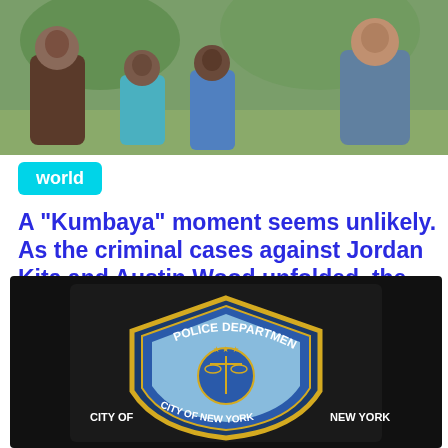[Figure (photo): Family group photo outdoors — adults and children posing together in natural setting]
world
A "Kumbaya" moment seems unlikely. As the criminal cases against Jordan Kita and Austin Wood unfolded, the Shepards filed a
- A "Kumbaya" moment seems unlikely. As the criminal cases against Jordan Kita and Austin Wood unfolded, the Shepards filed a
[Figure (photo): NYPD Police Department City of New York badge/patch on dark uniform fabric]